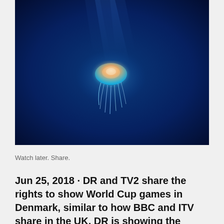[Figure (photo): Underwater photo of a glowing jellyfish against a deep blue background, illuminated from behind with blue light.]
Watch later. Share.
Jun 25, 2018 · DR and TV2 share the rights to show World Cup games in Denmark, similar to how BBC and ITV share in the UK. DR is showing the Denmark vs. France